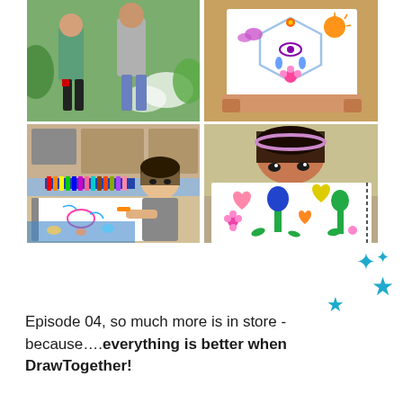[Figure (photo): A 2x2 photo collage of children drawing. Top-left: two children standing outdoors. Top-right: child holding up a colorful drawing with butterflies, flowers, and symbols. Bottom-left: young child drawing at a table with colorful markers. Bottom-right: girl holding up a sketchbook with drawings of hearts and flowers.]
[Figure (illustration): Four teal/blue star shapes arranged decoratively in the upper right of the text area.]
Episode 04, so much more is in store - because....everything is better when DrawTogether!